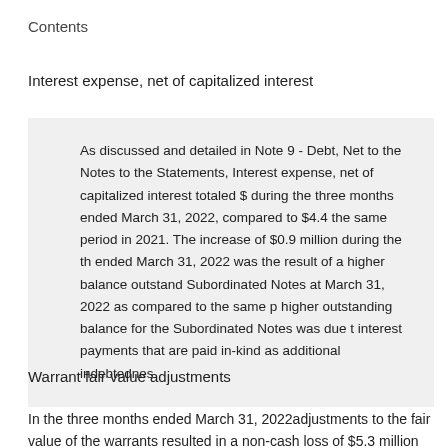Contents
Interest expense, net of capitalized interest
As discussed and detailed in Note 9 - Debt, Net to the Notes to the Statements, Interest expense, net of capitalized interest totaled $ during the three months ended March 31, 2022, compared to $4.4 the same period in 2021. The increase of $0.9 million during the th ended March 31, 2022 was the result of a higher balance outstand Subordinated Notes at March 31, 2022 as compared to the same p higher outstanding balance for the Subordinated Notes was due t interest payments that are paid in-kind as additional indebtednes
Warrant fair value adjustments
In the three months ended March 31, 2022adjustments to the fair value of the warrants resulted in a non-cash loss of $5.3 million